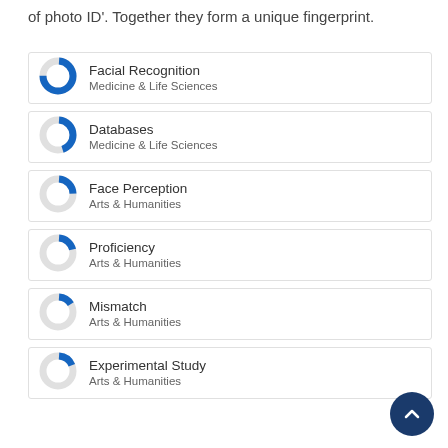of photo ID'. Together they form a unique fingerprint.
[Figure (donut-chart): Donut chart with large blue segment (~75%), Medicine & Life Sciences]
Facial Recognition
Medicine & Life Sciences
[Figure (donut-chart): Donut chart with medium blue segment (~45%), Medicine & Life Sciences]
Databases
Medicine & Life Sciences
[Figure (donut-chart): Donut chart with small blue segment (~25%), Arts & Humanities]
Face Perception
Arts & Humanities
[Figure (donut-chart): Donut chart with small blue segment (~20%), Arts & Humanities]
Proficiency
Arts & Humanities
[Figure (donut-chart): Donut chart with small blue segment (~15%), Arts & Humanities]
Mismatch
Arts & Humanities
[Figure (donut-chart): Donut chart with small blue segment (~18%), Arts & Humanities]
Experimental Study
Arts & Humanities